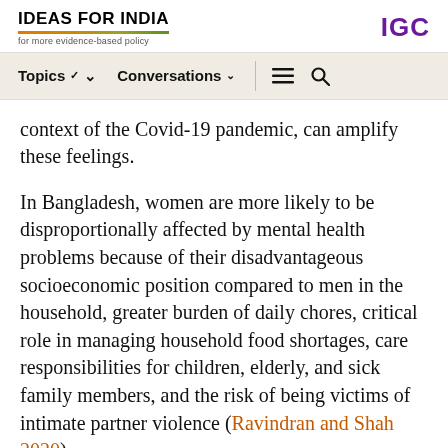IDEAS FOR INDIA — for more evidence-based policy | IGC
Topics  Conversations  [menu] [search]
context of the Covid-19 pandemic, can amplify these feelings.
In Bangladesh, women are more likely to be disproportionally affected by mental health problems because of their disadvantageous socioeconomic position compared to men in the household, greater burden of daily chores, critical role in managing household food shortages, care responsibilities for children, elderly, and sick family members, and the risk of being victims of intimate partner violence (Ravindran and Shah 2020).